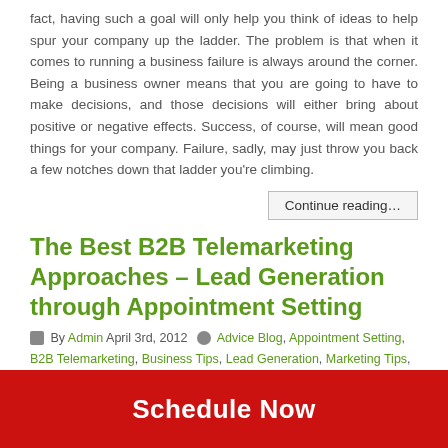fact, having such a goal will only help you think of ideas to help spur your company up the ladder. The problem is that when it comes to running a business failure is always around the corner. Being a business owner means that you are going to have to make decisions, and those decisions will either bring about positive or negative effects. Success, of course, will mean good things for your company. Failure, sadly, may just throw you back a few notches down that ladder you're climbing.
Continue reading…
The Best B2B Telemarketing Approaches – Lead Generation through Appointment Setting
By Admin April 3rd, 2012  Advice Blog, Appointment Setting, B2B Telemarketing, Business Tips, Lead Generation, Marketing Tips, Telemarketing Advice, Telemarketing Companies, Telemarketing
Schedule Now